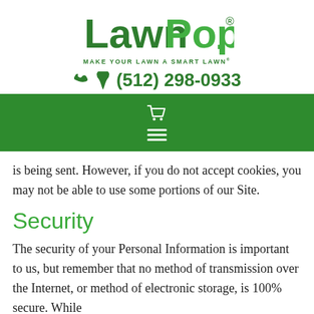[Figure (logo): LawnPop logo with green text and registered trademark symbol]
MAKE YOUR LAWN A SMART LAWN®
(512) 298-0933
[Figure (screenshot): Green navigation bar with shopping cart icon and hamburger menu icon]
is being sent. However, if you do not accept cookies, you may not be able to use some portions of our Site.
Security
The security of your Personal Information is important to us, but remember that no method of transmission over the Internet, or method of electronic storage, is 100% secure. While